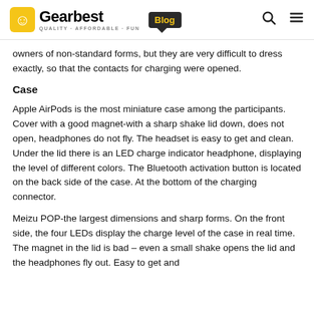Gearbest Blog
owners of non-standard forms, but they are very difficult to dress exactly, so that the contacts for charging were opened.
Case
Apple AirPods is the most miniature case among the participants. Cover with a good magnet-with a sharp shake lid down, does not open, headphones do not fly. The headset is easy to get and clean. Under the lid there is an LED charge indicator headphone, displaying the level of different colors. The Bluetooth activation button is located on the back side of the case. At the bottom of the charging connector.
Meizu POP-the largest dimensions and sharp forms. On the front side, the four LEDs display the charge level of the case in real time. The magnet in the lid is bad – even a small shake opens the lid and the headphones fly out. Easy to get and